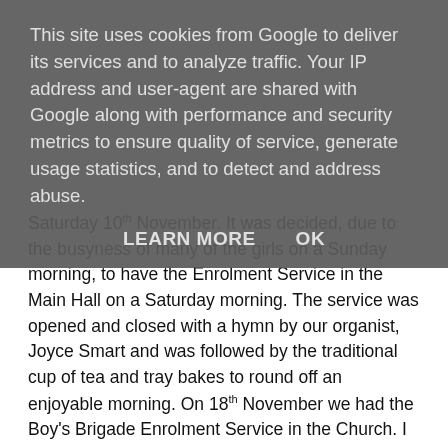This site uses cookies from Google to deliver its services and to analyze traffic. Your IP address and user-agent are shared with Google along with performance and security metrics to ensure quality of service, generate usage statistics, and to detect and address abuse.
LEARN MORE    OK
Saturday 10th November. It was decided, due to the busyness of many of the girls on a Sunday morning, to have the Enrolment Service in the Main Hall on a Saturday morning. The service was opened and closed with a hymn by our organist, Joyce Smart and was followed by the traditional cup of tea and tray bakes to round off an enjoyable morning. On 18th November we had the Boy's Brigade Enrolment Service in the Church. I think it's terrific with have so many officers / staff in our BB (and GB). The service was well and attended by the boys and they gave good answers during the sermon. We are very grateful to Barbara for organising the refreshments after the service.
I would like to take this opportunity to wish all the readers of the Newletter  a joyous Christmas and a healthy and happy New Year